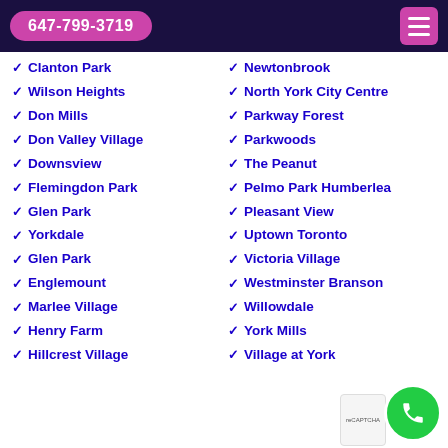647-799-3719
Clanton Park
Wilson Heights
Don Mills
Don Valley Village
Downsview
Flemingdon Park
Glen Park
Yorkdale
Glen Park
Englemount
Marlee Village
Henry Farm
Hillcrest Village
Newtonbrook
North York City Centre
Parkway Forest
Parkwoods
The Peanut
Pelmo Park Humberlea
Pleasant View
Uptown Toronto
Victoria Village
Westminster Branson
Willowdale
York Mills
Village at York